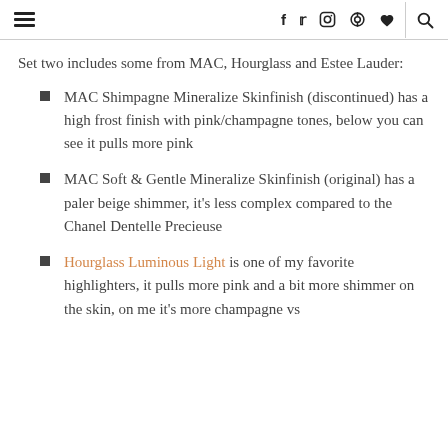≡  f  t  ⊙  ⊕  ♥  |  🔍
Set two includes some from MAC, Hourglass and Estee Lauder:
MAC Shimpagne Mineralize Skinfinish (discontinued) has a high frost finish with pink/champagne tones, below you can see it pulls more pink
MAC Soft & Gentle Mineralize Skinfinish (original) has a paler beige shimmer, it's less complex compared to the Chanel Dentelle Precieuse
Hourglass Luminous Light is one of my favorite highlighters, it pulls more pink and a bit more shimmer on the skin, on me it's more champagne vs